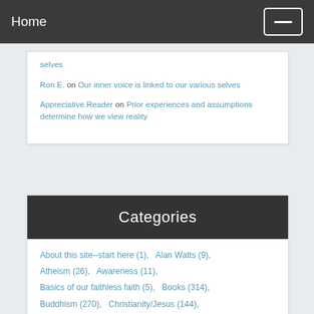Home
selves
Ron E. on Our inner voice is linked to our various selves
Appreciative Reader on Prior experiences and assumptions determine how we view reality
Categories
About this site--start here (1),   Alan Watts (9),
Atheism (26),   Awareness (11),
Basics of our faithless faith (5),   Books (314),
Buddhism (270),   Christianity/Jesus (144),